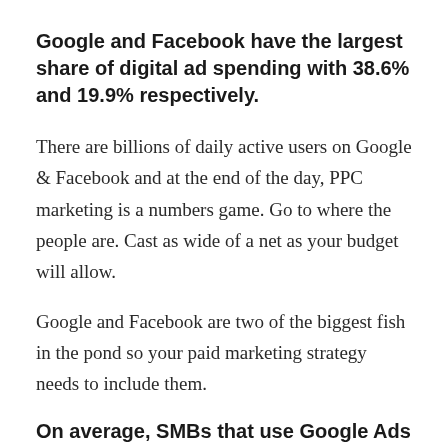Google and Facebook have the largest share of digital ad spending with 38.6% and 19.9% respectively.
There are billions of daily active users on Google & Facebook and at the end of the day, PPC marketing is a numbers game. Go to where the people are. Cast as wide of a net as your budget will allow.
Google and Facebook are two of the biggest fish in the pond so your paid marketing strategy needs to include them.
On average, SMBs that use Google Ads spend